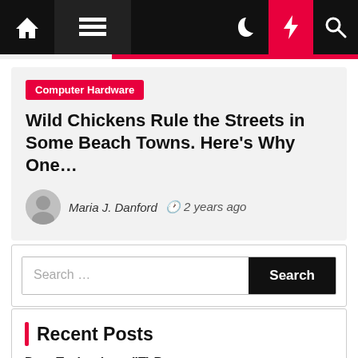Navigation bar with home, menu, dark mode, lightning, and search icons
Computer Hardware
Wild Chickens Rule the Streets in Some Beach Towns. Here's Why One…
Maria J. Danford  ⏱ 2 years ago
Search ...
Recent Posts
Data Technology (IT) Programmer